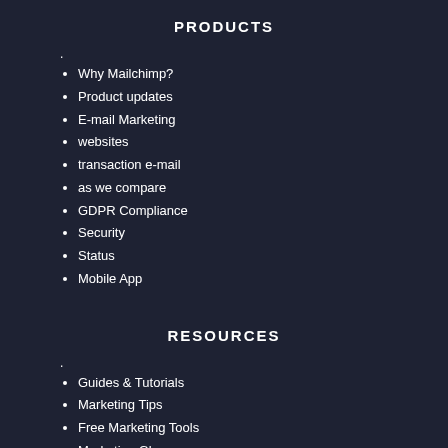PRODUCTS
.
Why Mailchimp?
Product updates
E-mail Marketing
websites
transaction e-mail
as we compare
GDPR Compliance
Security
Status
Mobile App
RESOURCES
.
Guides & Tutorials
Marketing Tips
Free Marketing Tools
Marketing Glossary
browsing with topic